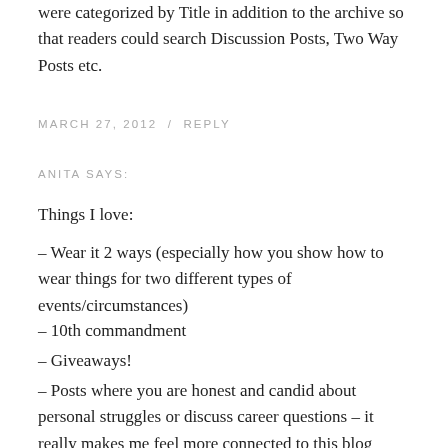were categorized by Title in addition to the archive so that readers could search Discussion Posts, Two Way Posts etc.
MARCH 27, 2012  /  REPLY
ANITA SAYS:
Things I love:
– Wear it 2 ways (especially how you show how to wear things for two different types of events/circumstances)
– 10th commandment
– Giveaways!
– Posts where you are honest and candid about personal struggles or discuss career questions – it really makes me feel more connected to this blog
Things I hope you change: